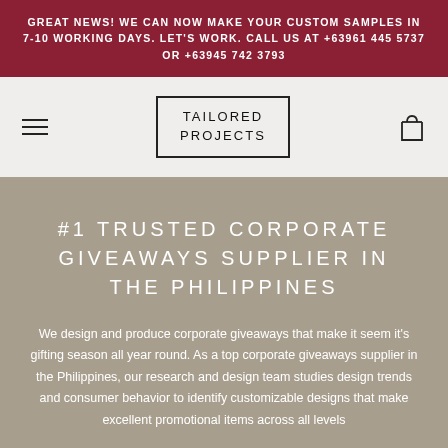GREAT NEWS! WE CAN NOW MAKE YOUR CUSTOM SAMPLES IN 7-10 WORKING DAYS. LET'S WORK. CALL US AT +63961 445 5737 OR +63945 742 3793
[Figure (logo): Tailored Projects logo in a rectangular border]
#1 TRUSTED CORPORATE GIVEAWAYS SUPPLIER IN THE PHILIPPINES
We design and produce corporate giveaways that make it seem it's gifting season all year round. As a top corporate giveaways supplier in the Philippines, our research and design team studies design trends and consumer behavior to identify customizable designs that make excellent promotional items across all levels